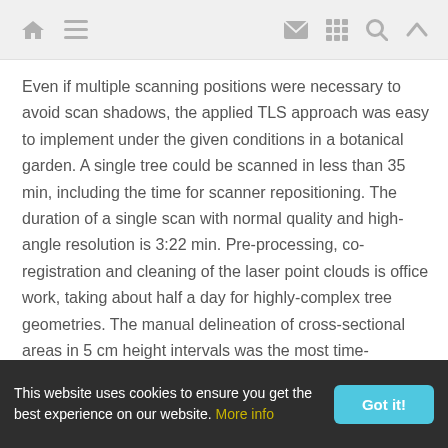[navigation icons: home, menu, mail, grid, search, up-arrow]
Even if multiple scanning positions were necessary to avoid scan shadows, the applied TLS approach was easy to implement under the given conditions in a botanical garden. A single tree could be scanned in less than 35 min, including the time for scanner repositioning. The duration of a single scan with normal quality and high-angle resolution is 3:22 min. Pre-processing, co-registration and cleaning of the laser point clouds is office work, taking about half a day for highly-complex tree geometries. The manual delineation of cross-sectional areas in 5 cm height intervals was the most time-expensive activity. However, considering that destructive sampling is not a viable alternative to research into the
This website uses cookies to ensure you get the best experience on our website. More info  Got it!